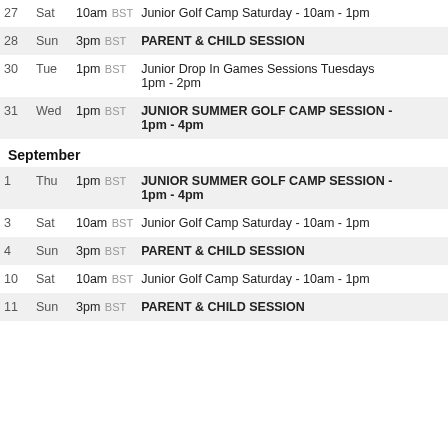| Day | DOW | Time | Event |
| --- | --- | --- | --- |
| 27 | Sat | 10am BST | Junior Golf Camp Saturday - 10am - 1pm |
| 28 | Sun | 3pm BST | PARENT & CHILD SESSION |
| 30 | Tue | 1pm BST | Junior Drop In Games Sessions Tuesdays 1pm - 2pm |
| 31 | Wed | 1pm BST | JUNIOR SUMMER GOLF CAMP SESSION - 1pm - 4pm |
September
| Day | DOW | Time | Event |
| --- | --- | --- | --- |
| 1 | Thu | 1pm BST | JUNIOR SUMMER GOLF CAMP SESSION - 1pm - 4pm |
| 3 | Sat | 10am BST | Junior Golf Camp Saturday - 10am - 1pm |
| 4 | Sun | 3pm BST | PARENT & CHILD SESSION |
| 10 | Sat | 10am BST | Junior Golf Camp Saturday - 10am - 1pm |
| 11 | Sun | 3pm BST | PARENT & CHILD SESSION |